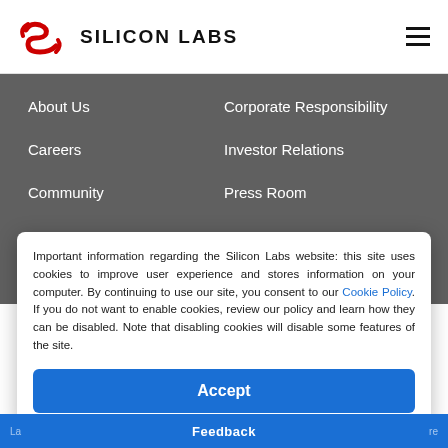[Figure (logo): Silicon Labs logo: red stylized S icon followed by bold text SILICON LABS]
SILICON LABS
About Us
Corporate Responsibility
Careers
Investor Relations
Community
Press Room
Important information regarding the Silicon Labs website: this site uses cookies to improve user experience and stores information on your computer. By continuing to use our site, you consent to our Cookie Policy. If you do not want to enable cookies, review our policy and learn how they can be disabled. Note that disabling cookies will disable some features of the site.
Accept
Feedback